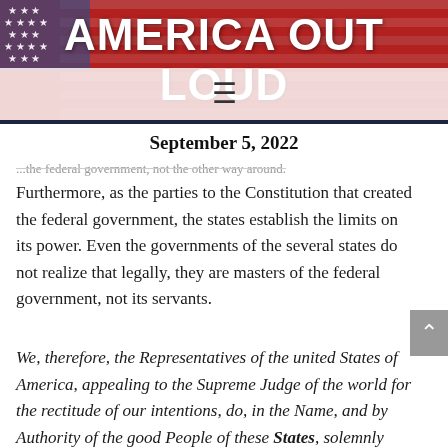AMERICA OUT LOUD
September 5, 2022
...the federal government, not the other way around.
Furthermore, as the parties to the Constitution that created the federal government, the states establish the limits on its power. Even the governments of the several states do not realize that legally, they are masters of the federal government, not its servants.
We, therefore, the Representatives of the united States of America, appealing to the Supreme Judge of the world for the rectitude of our intentions, do, in the Name, and by Authority of the good People of these States, solemnly publish and declare, That these united States are, and of